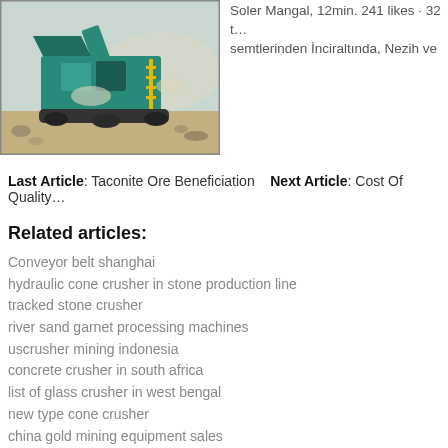[Figure (photo): A large mobile stone crusher machine (teal/green colored) operating at a quarry or construction site with dust and rocky terrain.]
Soler Mangal, 12min. 241 likes · 32 to... semtlerinden İnciraltında, Nezih ve
Last Article: Taconite Ore Beneficiation   Next Article: Cost Of Quality...
Related articles:
Conveyor belt shanghai
hydraulic cone crusher in stone production line
tracked stone crusher
river sand garnet processing machines
uscrusher mining indonesia
concrete crusher in south africa
list of glass crusher in west bengal
new type cone crusher
china gold mining equipment sales
radius master hollow grinding jig price
crushed stone into powder
system hematite magnetite siderite